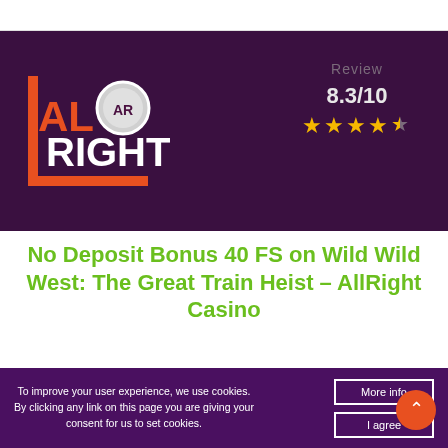[Figure (logo): AllRight Casino logo with orange bracket and chip graphic on dark purple background, showing 'Review' text and rating 8.3/10 with 4.5 stars]
No Deposit Bonus 40 FS on Wild Wild West: The Great Train Heist – AllRight Casino
To improve your user experience, we use cookies. By clicking any link on this page you are giving your consent for us to set cookies.